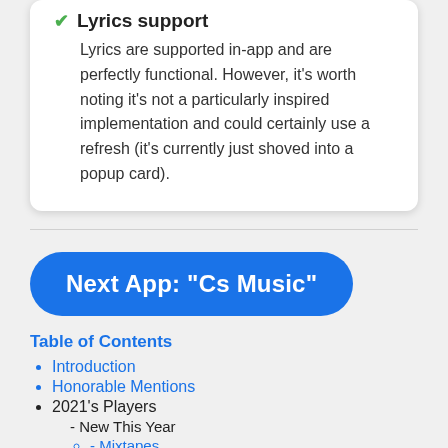Lyrics support
Lyrics are supported in-app and are perfectly functional. However, it's worth noting it's not a particularly inspired implementation and could certainly use a refresh (it's currently just shoved into a popup card).
Next App: “Cs Music”
Table of Contents
Introduction
Honorable Mentions
2021’s Players
New This Year
Mixtapes